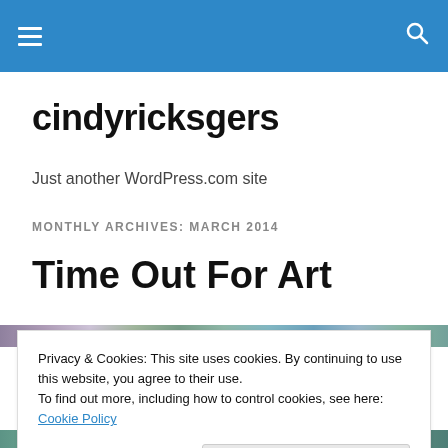cindyricksgers — navigation bar with menu and search icons
cindyricksgers
Just another WordPress.com site
MONTHLY ARCHIVES: MARCH 2014
Time Out For Art
[Figure (photo): Abstract art image strip, colorful mixed purples, greens, teals]
Privacy & Cookies: This site uses cookies. By continuing to use this website, you agree to their use.
To find out more, including how to control cookies, see here: Cookie Policy
Close and accept
[Figure (photo): Abstract art image strip at bottom, dark greens and teals]